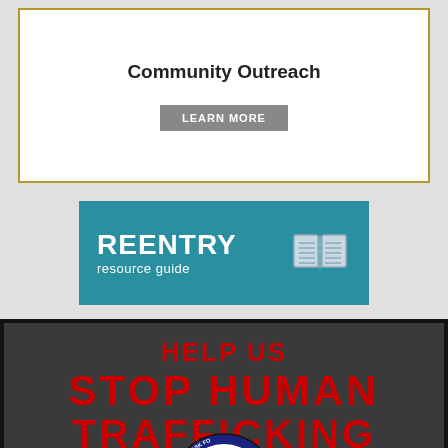Community Outreach
LEARN MORE
[Figure (illustration): Reentry Resource Guide banner with teal background and open book icon]
[Figure (infographic): Help Us Stop Human Trafficking poster with dark gray background, red bold text, and Maryland Human Trafficking Task Force seal]